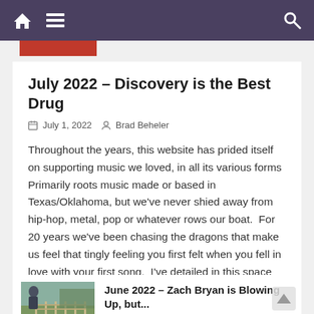Navigation bar with home icon, menu icon, and search icon
July 2022 – Discovery is the Best Drug
July 1, 2022   Brad Beheler
Throughout the years, this website has prided itself on supporting music we loved, in all its various forms  Primarily roots music made or based in Texas/Oklahoma, but we've never shied away from hip-hop, metal, pop or whatever rows our boat.  For 20 years we've been chasing the dragons that make us feel that tingly feeling you first felt when you fell in love with your first song.  I've detailed in this space over two decades multiple times I felt that feeling.   And there is still nothing better than discovering a cool new artist or a new song from an artist
June 2022 – Zach Bryan is Blowing Up, but...